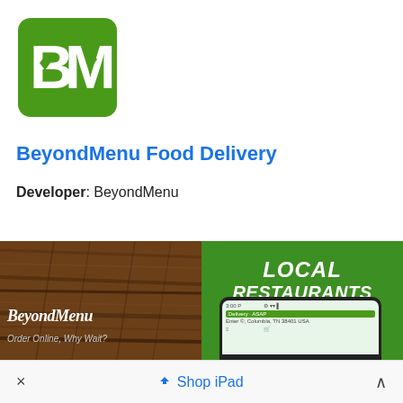[Figure (logo): BeyondMenu green square logo with white BM letters stylized]
BeyondMenu Food Delivery
Developer:  BeyondMenu
[Figure (screenshot): Two app screenshots: left shows wood background with BeyondMenu italic logo text and 'Order Online, Why Wait?'; right shows green background with 'LOCAL RESTAURANTS' text and a phone screen showing the app interface]
× Shop iPad ^